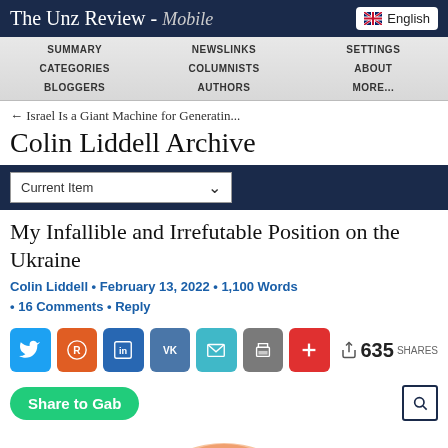The Unz Review - Mobile
SUMMARY
NEWSLINKS
SETTINGS
CATEGORIES
COLUMNISTS
ABOUT
BLOGGERS
AUTHORS
MORE...
← Israel Is a Giant Machine for Generatin...
Colin Liddell Archive
Current Item
My Infallible and Irrefutable Position on the Ukraine
Colin Liddell • February 13, 2022 • 1,100 Words • 16 Comments • Reply
635 SHARES
Share to Gab